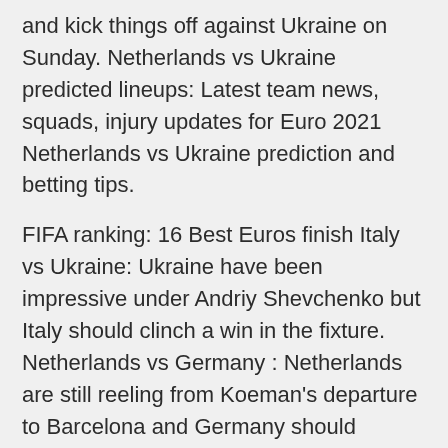and kick things off against Ukraine on Sunday. Netherlands vs Ukraine predicted lineups: Latest team news, squads, injury updates for Euro 2021 Netherlands vs Ukraine prediction and betting tips.
FIFA ranking: 16 Best Euros finish Italy vs Ukraine: Ukraine have been impressive under Andriy Shevchenko but Italy should clinch a win in the fixture. Netherlands vs Germany : Netherlands are still reeling from Koeman's departure to Barcelona and Germany should enough to see the back of the Oranje. PARIS: After failing to qualify for Euro 2016 or the 2018 World Cup, the Netherlands are back in the big time and aiming to make a big impression in this European Championship in a group also The Netherlands will face off against Ukraine in the first table match of the 2020 UEFA Football Championship at 3:00 p.m. EST on Sunday,